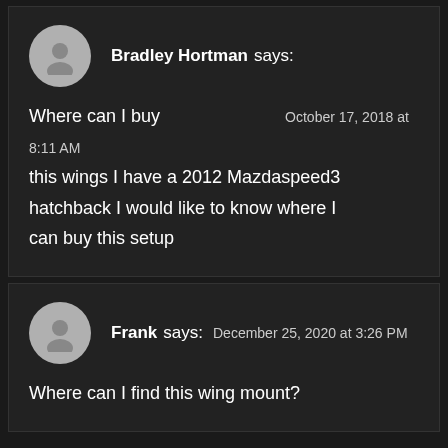Bradley Hortman says: October 17, 2018 at 8:11 AM
Where can I buy this wings I have a 2012 Mazdaspeed3 hatchback I would like to know where I can buy this setup
Frank says: December 25, 2020 at 3:26 PM
Where can I find this wing mount?